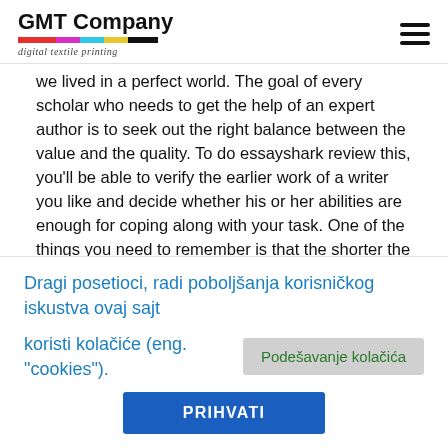[Figure (logo): GMT Company logo with colorful bar and 'digital textile printing' tagline]
we lived in a perfect world. The goal of every scholar who needs to get the help of an expert author is to seek out the right balance between the value and the quality. To do essayshark review this, you'll be able to verify the earlier work of a writer you like and decide whether his or her abilities are enough for coping along with your task. One of the things you need to remember is that the shorter the deadline for your paper the more you'll should pay. So, it is at all times a good idea to position your order beforehand. Do not wait until the last minute.
There's not a pricing system that permits you to know exactly how much your order is going to value. Right here, the writers set their very own prices and also you choose the one that works for you. The most
Dragi posetioci, radi poboljšanja korisničkog iskustva ovaj sajt koristi kolačiće (eng. "cookies").
Podešavanje kolačića
PRIHVATI